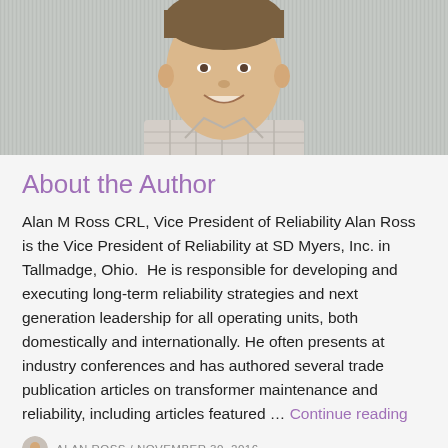[Figure (photo): Portrait photo of Alan M Ross, a smiling middle-aged man wearing a plaid/checkered shirt against a light gray background, cropped from the shoulders up.]
About the Author
Alan M Ross CRL, Vice President of Reliability Alan Ross is the Vice President of Reliability at SD Myers, Inc. in Tallmadge, Ohio.  He is responsible for developing and executing long-term reliability strategies and next generation leadership for all operating units, both domestically and internationally. He often presents at industry conferences and has authored several trade publication articles on transformer maintenance and reliability, including articles featured … Continue reading
ALAN ROSS / NOVEMBER 30, 2016